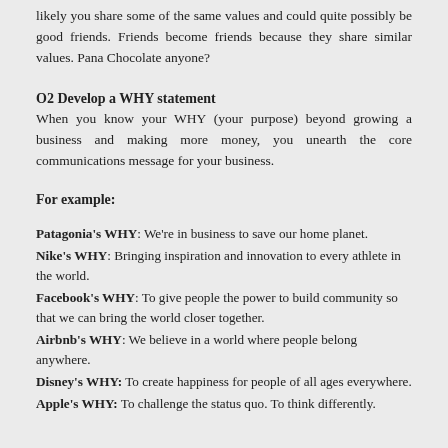likely you share some of the same values and could quite possibly be good friends. Friends become friends because they share similar values. Pana Chocolate anyone?
O2 Develop a WHY statement
When you know your WHY (your purpose) beyond growing a business and making more money, you unearth the core communications message for your business.
For example:
Patagonia's WHY: We're in business to save our home planet.
Nike's WHY: Bringing inspiration and innovation to every athlete in the world.
Facebook's WHY: To give people the power to build community so that we can bring the world closer together.
Airbnb's WHY: We believe in a world where people belong anywhere.
Disney's WHY: To create happiness for people of all ages everywhere.
Apple's WHY: To challenge the status quo. To think differently.